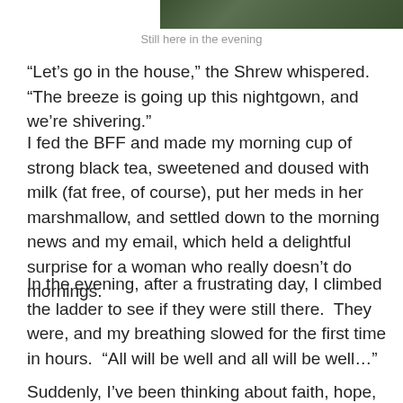[Figure (photo): Partial view of a nature/outdoor photograph showing green foliage, cropped at the top of the page]
Still here in the evening
“Let’s go in the house,” the Shrew whispered.  “The breeze is going up this nightgown, and we’re shivering.”
I fed the BFF and made my morning cup of strong black tea, sweetened and doused with milk (fat free, of course), put her meds in her marshmallow, and settled down to the morning news and my email, which held a delightful surprise for a woman who really doesn’t do mornings.
In the evening, after a frustrating day, I climbed the ladder to see if they were still there.  They were, and my breathing slowed for the first time in hours.  “All will be well and all will be well…”
Suddenly, I’ve been thinking about faith, hope, and love in